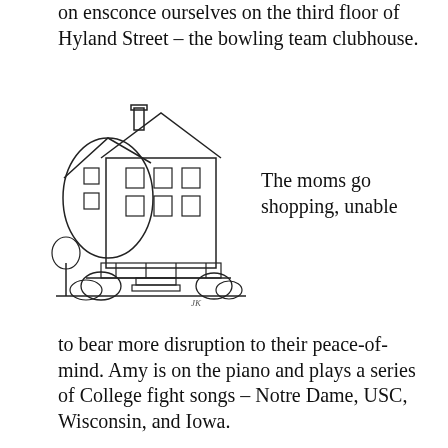on ensconce ourselves on the third floor of Hyland Street – the bowling team clubhouse.
[Figure (illustration): Line drawing of a three-story house with a porch and surrounding bushes/trees]
The moms go shopping, unable
to bear more disruption to their peace-of-mind. Amy is on the piano and plays a series of College fight songs – Notre Dame, USC, Wisconsin, and Iowa.
[Figure (screenshot): YouTube video thumbnail showing Iowa Fight Song with Iowa Hawkeyes logo (black and gold tiger hawk) and red YouTube play button]